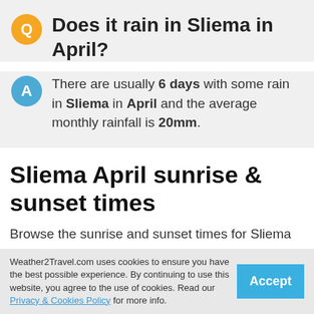Does it rain in Sliema in April?
There are usually 6 days with some rain in Sliema in April and the average monthly rainfall is 20mm.
Sliema April sunrise & sunset times
Browse the sunrise and sunset times for Sliema in April 2023. Select a month to view Sliema sunrise and sunset times for the next 12 months.
Weather2Travel.com uses cookies to ensure you have the best possible experience. By continuing to use this website, you agree to the use of cookies. Read our Privacy & Cookies Policy for more info.